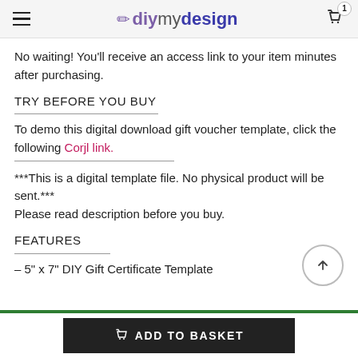diymydesign — cart: 1
No waiting! You'll receive an access link to your item minutes after purchasing.
TRY BEFORE YOU BUY
To demo this digital download gift voucher template, click the following Corjl link.
***This is a digital template file. No physical product will be sent.*** Please read description before you buy.
FEATURES
– 5" x 7" DIY Gift Certificate Template
ADD TO BASKET